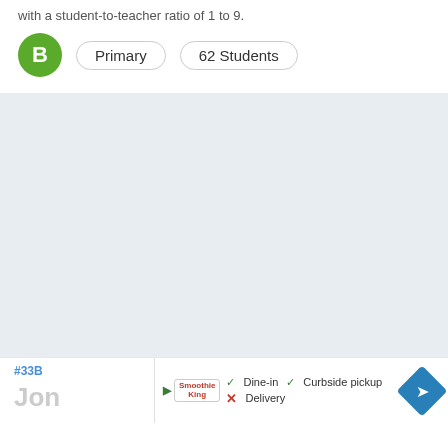with a student-to-teacher ratio of 1 to 9.
B  Primary  62 Students
[Figure (map): Light blue-gray map placeholder area]
#33B
Jon
[Figure (infographic): Ad banner: Smoothie King logo with Dine-in checkmark, Curbside pickup checkmark, Delivery cross mark, and navigation arrow diamond icon]